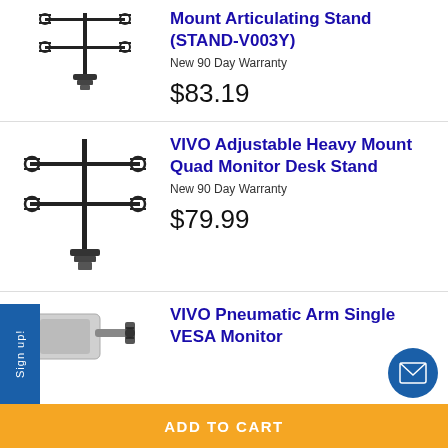[Figure (illustration): Dual monitor desk mount articulating stand product image (partial, top of page)]
Mount Articulating Stand (STAND-V003Y)
New 90 Day Warranty
$83.19
[Figure (illustration): VIVO Adjustable Heavy Mount Quad Monitor Desk Stand product image]
VIVO Adjustable Heavy Mount Quad Monitor Desk Stand
New 90 Day Warranty
$79.99
[Figure (illustration): VIVO Pneumatic Arm Single VESA Monitor product image (partial)]
VIVO Pneumatic Arm Single VESA Monitor
Sign up!
ADD TO CART